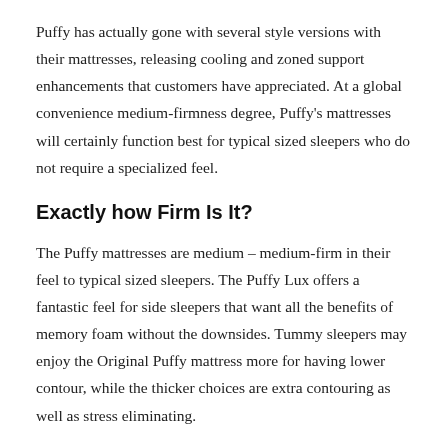Puffy has actually gone with several style versions with their mattresses, releasing cooling and zoned support enhancements that customers have appreciated. At a global convenience medium-firmness degree, Puffy's mattresses will certainly function best for typical sized sleepers who do not require a specialized feel.
Exactly how Firm Is It?
The Puffy mattresses are medium – medium-firm in their feel to typical sized sleepers. The Puffy Lux offers a fantastic feel for side sleepers that want all the benefits of memory foam without the downsides. Tummy sleepers may enjoy the Original Puffy mattress more for having lower contour, while the thicker choices are extra contouring as well as stress eliminating.